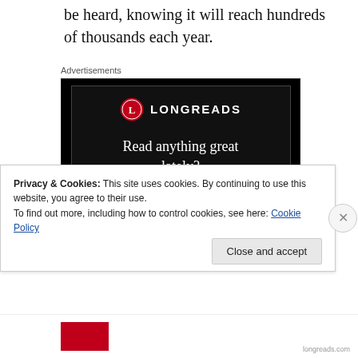be heard, knowing it will reach hundreds of thousands each year.
Advertisements
[Figure (screenshot): Longreads advertisement banner with black background, Longreads logo (red circle with L), tagline 'Read anything great lately?' and a red 'Start reading' button.]
Privacy & Cookies: This site uses cookies. By continuing to use this website, you agree to their use.
To find out more, including how to control cookies, see here: Cookie Policy
Close and accept